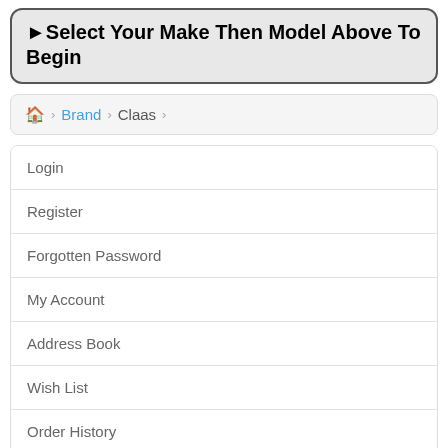▶ Select Your Make Then Model Above To Begin
🏠 > Brand > Claas
Login
Register
Forgotten Password
My Account
Address Book
Wish List
Order History
Download FAQ